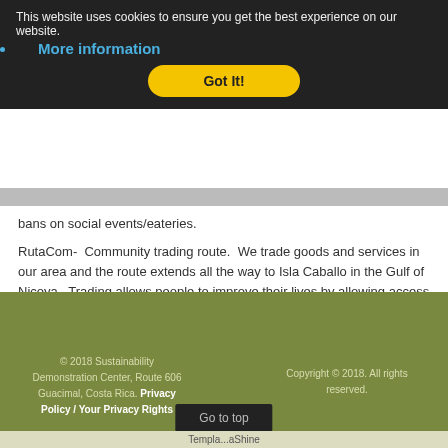This website uses cookies to ensure you get the best experience on our website.
More information
Got It!
bans on social events/eateries.
RutaCom-  Community trading route.  We trade goods and services in our area and the route extends all the way to Isla Caballo in the Gulf of Nicoya.  Trading allows people to improve their lives by allowing access to food, necessary items and services that perhaps could not be accessed if they had to be purchased with money.
© 2018 Sustainability Demonstration Center, Route 606 Guacimal, Costa Rica.  Privacy Policy / Your Privacy Rights
Copyright © 2018. All rights reserved.
Go to top
Template ... aShine